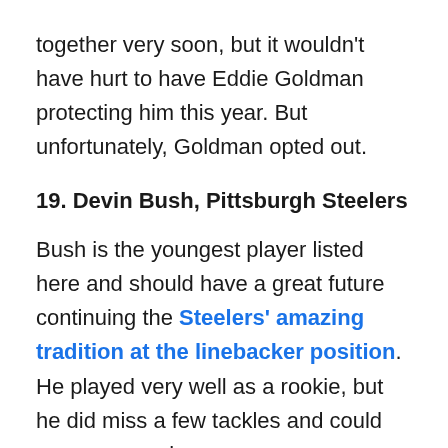together very soon, but it wouldn't have hurt to have Eddie Goldman protecting him this year. But unfortunately, Goldman opted out.
19. Devin Bush, Pittsburgh Steelers
Bush is the youngest player listed here and should have a great future continuing the Steelers' amazing tradition at the linebacker position. He played very well as a rookie, but he did miss a few tackles and could use more work as a zone coverage player. That said, Bush has great traits, including his ability to read and react.